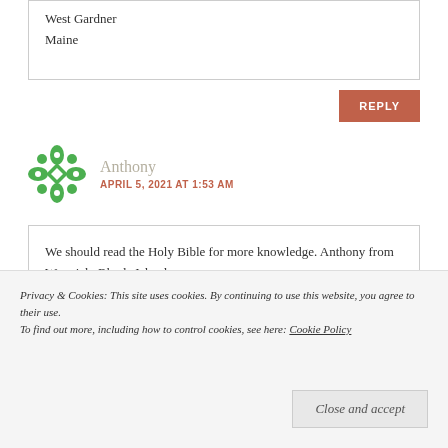West Gardner
Maine
REPLY
Anthony
APRIL 5, 2021 AT 1:53 AM
We should read the Holy Bible for more knowledge. Anthony from Warwick, Rhode Island
Privacy & Cookies: This site uses cookies. By continuing to use this website, you agree to their use.
To find out more, including how to control cookies, see here: Cookie Policy
Close and accept